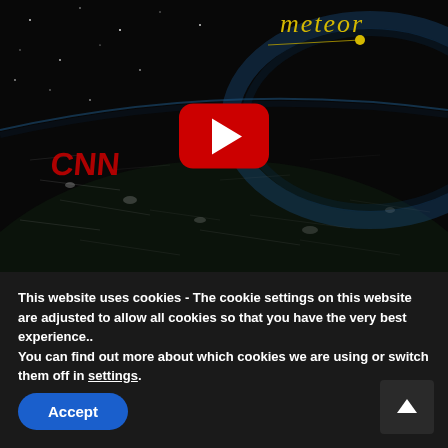[Figure (screenshot): YouTube video thumbnail showing a space scene with Earth's curvature visible, stars and meteor streaks, text 'meteor' in gold italic font at top, CNN logo in red at lower left, and a YouTube play button (red rounded rectangle with white triangle) centered on the image.]
This website uses cookies - The cookie settings on this website are adjusted to allow all cookies so that you have the very best experience..
You can find out more about which cookies we are using or switch them off in settings.